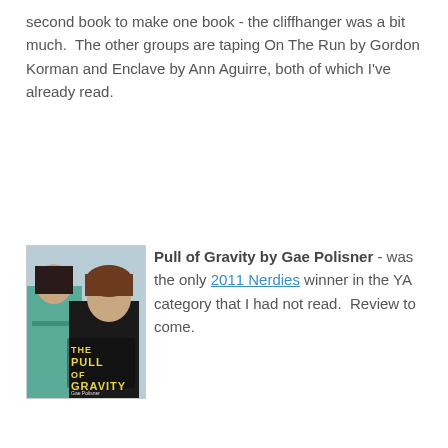second book to make one book - the cliffhanger was a bit much.  The other groups are taping On The Run by Gordon Korman and Enclave by Ann Aguirre, both of which I've already read.
[Figure (photo): Book cover of 'The Pull of Gravity' by Gae Polisner showing two teenagers, a girl in a teal hoodie and a boy in a dark shirt, with stylized text on the cover.]
Pull of Gravity by Gae Polisner - was the only 2011 Nerdies winner in the YA category that I had not read.  Review to come.